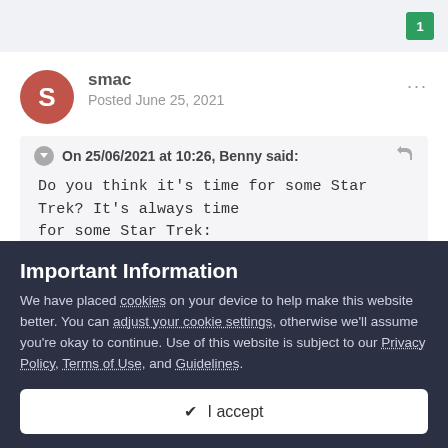1
smac
Posted June 25, 2021
On 25/06/2021 at 10:26, Benny said:
Do you think it's time for some Star Trek? It's always time for some Star Trek:
[.]
Important Information
We have placed cookies on your device to help make this website better. You can adjust your cookie settings, otherwise we'll assume you're okay to continue. Use of this website is subject to our Privacy Policy, Terms of Use, and Guidelines.
✔ I accept